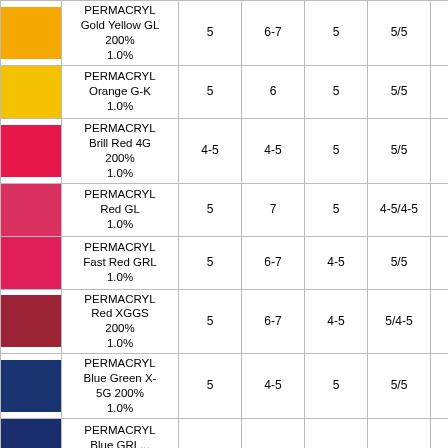| Color | Name | Col1 | Col2 | Col3 | Col4 | Col5 |
| --- | --- | --- | --- | --- | --- | --- |
| [gold yellow] | PERMACRYL Gold Yellow GL 200% 1.0% | 5 | 6-7 | 5 | 5/5 | 3.0 |
| [orange] | PERMACRYL Orange G-K 1.0% | 5 | 6 | 5 | 5/5 | 1.5 |
| [bright red] | PERMACRYL Brill Red 4G 200% 1.0% | 4-5 | 4-5 | 5 | 5/5 | 3.0 |
| [red] | PERMACRYL Red GL 1.0% | 5 | 7 | 5 | 4-5/4-5 | 2.5 |
| [fast red] | PERMACRYL Fast Red GRL 1.0% | 5 | 6-7 | 4-5 | 5/5 | 3.0 |
| [dark red] | PERMACRYL Red XGGS 200% 1.0% | 5 | 6-7 | 4-5 | 5/4-5 | 3.5 |
| [blue] | PERMACRYL Blue Green X-5G 200% 1.0% | 5 | 4-5 | 5 | 5/5 | 3.5 |
| [dark blue] | PERMACRYL Blue GRL... |  |  |  |  |  |